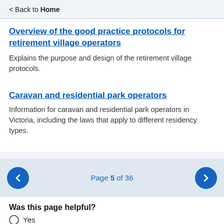< Back to Home
Overview of the good practice protocols for retirement village operators
Explains the purpose and design of the retirement village protocols.
Caravan and residential park operators
Information for caravan and residential park operators in Victoria, including the laws that apply to different residency types.
Page 5 of 36
Was this page helpful?
Yes